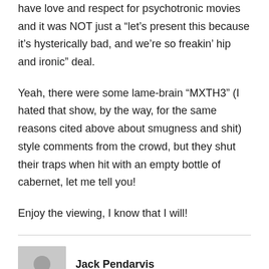have love and respect for psychotronic movies and it was NOT just a “let’s present this because it’s hysterically bad, and we’re so freakin’ hip and ironic” deal.
Yeah, there were some lame-brain “MXTH3” (I hated that show, by the way, for the same reasons cited above about smugness and shit) style comments from the crowd, but they shut their traps when hit with an empty bottle of cabernet, let me tell you!
Enjoy the viewing, I know that I will!
Jack Pendarvis
April 8, 2011 at 2:45 pm
Timothy – I lived practically NEXT DOOR to the Plaza for